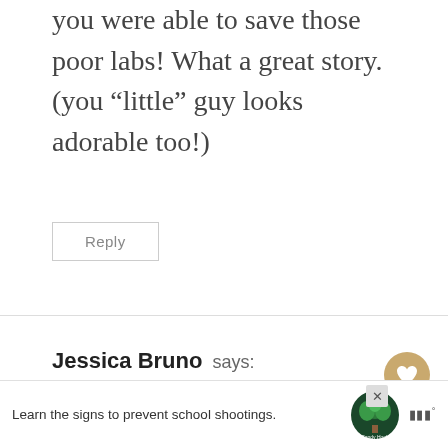you were able to save those poor labs! What a great story. (you “little” guy looks adorable too!)
Reply
Jessica Bruno says:
Thank you Kim! I have the soaps all over as well. Super cute and stylish fo...
Learn the signs to prevent school shootings.